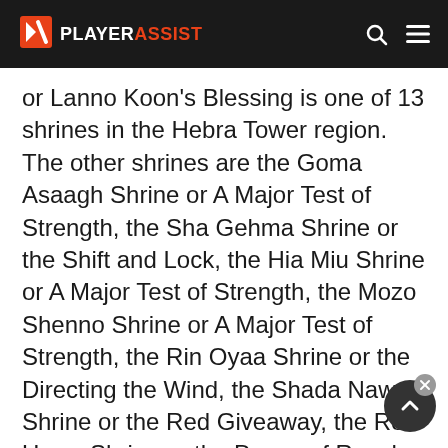PLAYERASSIST
or Lanno Koon's Blessing is one of 13 shrines in the Hebra Tower region. The other shrines are the Goma Asaagh Shrine or A Major Test of Strength, the Sha Gehma Shrine or the Shift and Lock, the Hia Miu Shrine or A Major Test of Strength, the Mozo Shenno Shrine or A Major Test of Strength, the Rin Oyaa Shrine or the Directing the Wind, the Shada Naw Shrine or the Red Giveaway, the Rok Uwog Shrine or the Power of Reach, the Maka Rah Shrine or the Steady Thy Heart, the To Quomo Shrine or Quomo's Blessing, the Dunba Taag Shrine or the Build and Rele